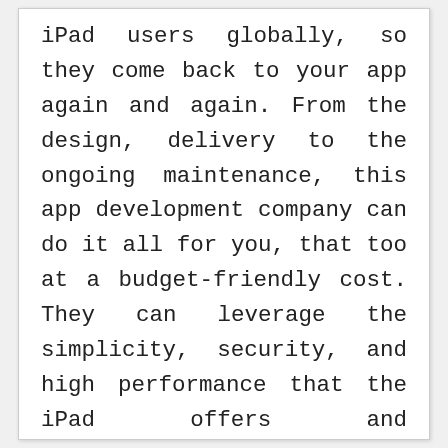iPad users globally, so they come back to your app again and again. From the design, delivery to the ongoing maintenance, this app development company can do it all for you, that too at a budget-friendly cost. They can leverage the simplicity, security, and high performance that the iPad offers and continuously produce highly effective apps. Their works bases on understanding the needs of the target audience and implementing the market needs. Their strategic use of iPad OS and latest features can give you a cut above the rest